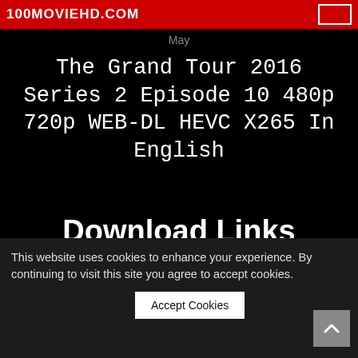May
The Grand Tour 2016 Series 2 Episode 10 480p 720p WEB-DL HEVC X265 In English
Download Links
This website uses cookies to enhance your experience. By continuing to visit this site you agree to accept cookies.